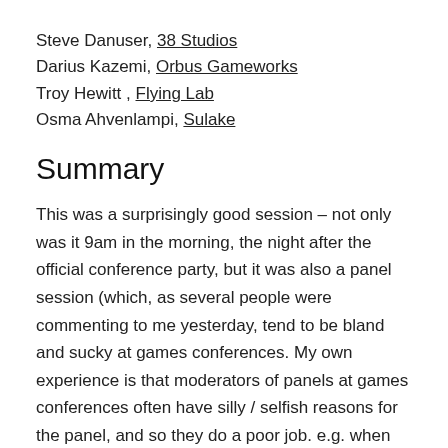Steve Danuser, 38 Studios
Darius Kazemi, Orbus Gameworks
Troy Hewitt , Flying Lab
Osma Ahvenlampi, Sulake
Summary
This was a surprisingly good session – not only was it 9am in the morning, the night after the official conference party, but it was also a panel session (which, as several people were commenting to me yesterday, tend to be bland and sucky at games conferences. My own experience is that moderators of panels at games conferences often have silly / selfish reasons for the panel, and so they do a poor job. e.g. when they admit that they just want to meet / befriend / privately